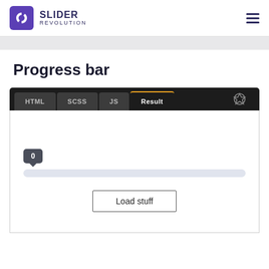SLIDER REVOLUTION
Progress bar
[Figure (screenshot): A CodePen-style editor panel with tabs: HTML, SCSS, JS, Result (active, with orange top border). Below the tabs is a white result panel showing a progress bar UI with a tooltip showing '0', an empty light-gray progress track bar, and a 'Load stuff' button.]